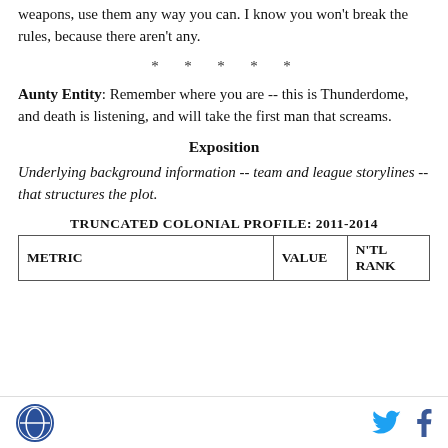weapons, use them any way you can. I know you won't break the rules, because there aren't any.
* * * * *
Aunty Entity: Remember where you are -- this is Thunderdome, and death is listening, and will take the first man that screams.
Exposition
Underlying background information -- team and league storylines -- that structures the plot.
TRUNCATED COLONIAL PROFILE: 2011-2014
| METRIC | VALUE | N'TL RANK |
| --- | --- | --- |